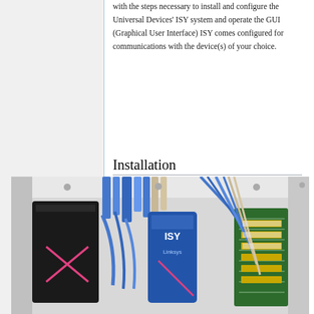with the steps necessary to install and configure the Universal Devices' ISY system and operate the GUI (Graphical User Interface) ISY comes configured for communications with the device(s) of your choice.
Installation
[Figure (photo): Photo of a home network installation panel showing networking devices including a blue Linksys/ISY device, black modem/router, blue ethernet cables, and a green circuit board, all mounted inside a structured wiring enclosure.]